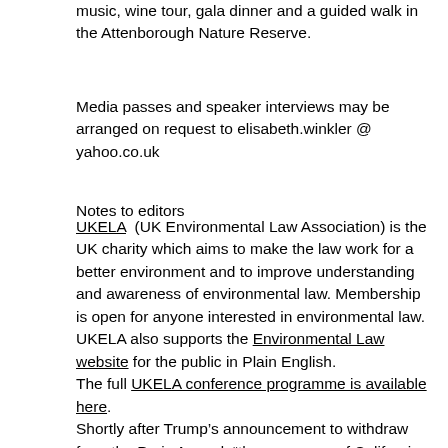music, wine tour, gala dinner and a guided walk in the Attenborough Nature Reserve.
Media passes and speaker interviews may be arranged on request to elisabeth.winkler @ yahoo.co.uk
Notes to editors
UKELA (UK Environmental Law Association) is the UK charity which aims to make the law work for a better environment and to improve understanding and awareness of environmental law. Membership is open for anyone interested in environmental law. UKELA also supports the Environmental Law website for the public in Plain English.
The full UKELA conference programme is available here.
Shortly after Trump's announcement to withdraw from the Paris Accord, “the governors of California, New York, and Washington founded